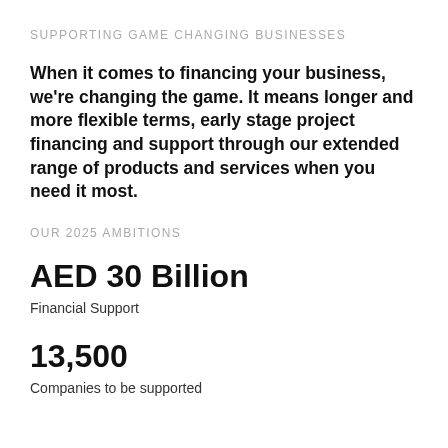SUPPORTING GAME CHANGING BUSINESSES
When it comes to financing your business, we're changing the game. It means longer and more flexible terms, early stage project financing and support through our extended range of products and services when you need it most.
OUR 2025 AMBITIONS
AED 30 Billion
Financial Support
13,500
Companies to be supported